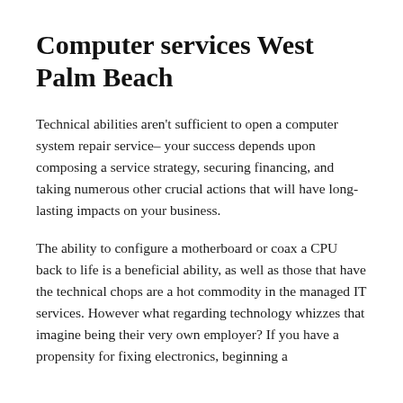Computer services West Palm Beach
Technical abilities aren't sufficient to open a computer system repair service– your success depends upon composing a service strategy, securing financing, and taking numerous other crucial actions that will have long-lasting impacts on your business.
The ability to configure a motherboard or coax a CPU back to life is a beneficial ability, as well as those that have the technical chops are a hot commodity in the managed IT services. However what regarding technology whizzes that imagine being their very own employer? If you have a propensity for fixing electronics, beginning a